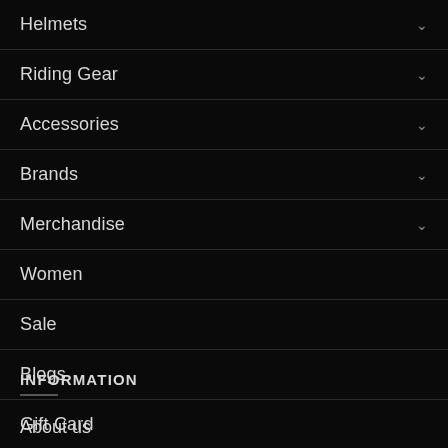Helmets
Riding Gear
Accessories
Brands
Merchandise
Women
Sale
Blogs
Gift Card
INFORMATION
About us